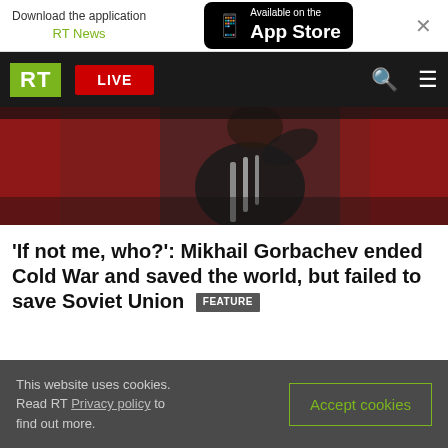Download the application RT News — Available on the App Store
[Figure (screenshot): RT navigation bar with green RT logo, red LIVE button, search and menu icons on dark background]
[Figure (photo): Person in dark suit speaking at a podium with microphones in front of a red curtain background]
'If not me, who?': Mikhail Gorbachev ended Cold War and saved the world, but failed to save Soviet Union [FEATURE]
This website uses cookies. Read RT Privacy policy to find out more.
Accept cookies